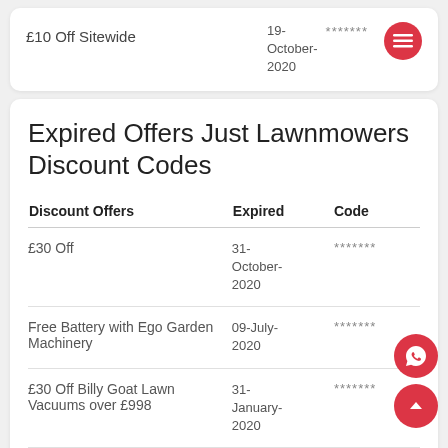| Discount Offers | Expired | Code |
| --- | --- | --- |
| £10 Off Sitewide | 19-October-2020 | ******* |
| £30 Off | 31-October-2020 | ******* |
| Free Battery with Ego Garden Machinery | 09-July-2020 | ******* |
| £30 Off Billy Goat Lawn Vacuums over £998 | 31-January-2020 | ******* |
|  | 31- |  |
Expired Offers Just Lawnmowers Discount Codes